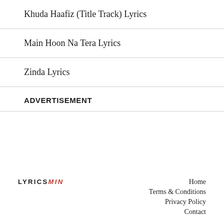Khuda Haafiz (Title Track) Lyrics
Main Hoon Na Tera Lyrics
Zinda Lyrics
ADVERTISEMENT
LYRICSMIN  Home  Terms & Conditions  Privacy Policy  Contact